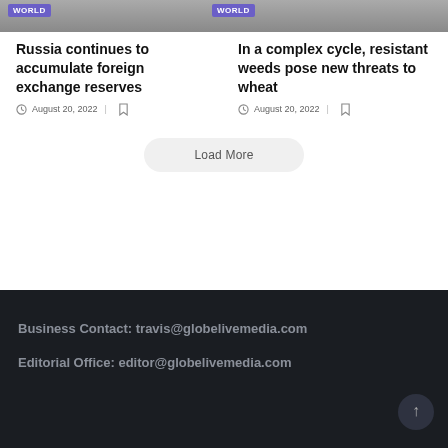[Figure (screenshot): Two article cards with 'WORLD' category badges on gray image placeholders]
Russia continues to accumulate foreign exchange reserves
August 20, 2022
In a complex cycle, resistant weeds pose new threats to wheat
August 20, 2022
Load More
Business Contact: travis@globalivemedia.com
Editorial Office: editor@globelivemedia.com